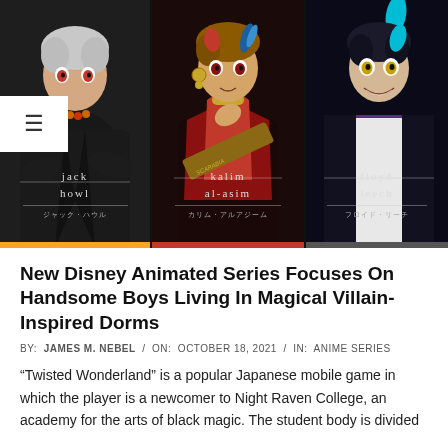[Figure (illustration): Three anime character panels side by side: Jack Howl (left, dark jacket, silver hair), Kalim Al-Asim (center, red scarf, gold earring), Floyd Leech (right, purple shirt, dark jacket). Each panel shows character name in English and Japanese.]
New Disney Animated Series Focuses On Handsome Boys Living In Magical Villain-Inspired Dorms
BY: JAMES M. NEBEL / ON: OCTOBER 18, 2021 / IN: ANIME SERIES
"Twisted Wonderland" is a popular Japanese mobile game in which the player is a newcomer to Night Raven College, an academy for the arts of black magic. The student body is divided